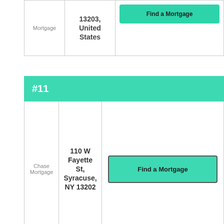| Name | Address | Action |
| --- | --- | --- |
| Mortgage | 13203, United States | Find a Mortgage |
#11
| Name | Address | Action |
| --- | --- | --- |
| Chase Mortgage | 110 W Fayette St, Syracuse, NY 13202 | Find a Mortgage |